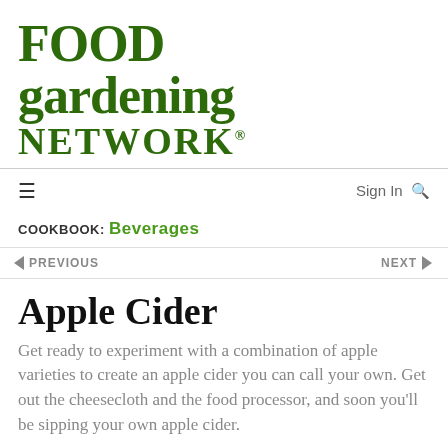[Figure (logo): Food Gardening Network logo in dark green bold serif text]
Sign In 🔍
COOKBOOK: Beverages
◄ PREVIOUS    NEXT ►
Apple Cider
Get ready to experiment with a combination of apple varieties to create an apple cider you can call your own. Get out the cheesecloth and the food processor, and soon you'll be sipping your own apple cider.